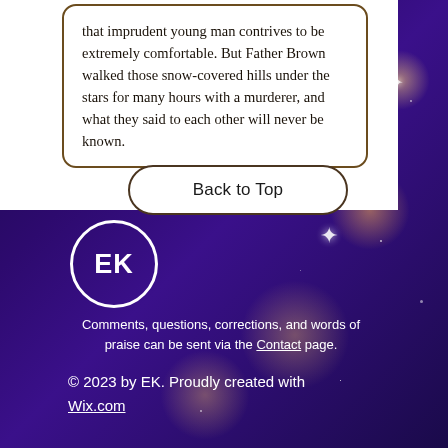that imprudent young man contrives to be extremely comfortable. But Father Brown walked those snow-covered hills under the stars for many hours with a murderer, and what they said to each other will never be known.
Back to Top
[Figure (logo): EK logo: white oval/circle border with bold white text 'EK' inside, on dark purple star-field background]
Comments, questions, corrections, and words of praise can be sent via the Contact page.
© 2023 by EK. Proudly created with Wix.com